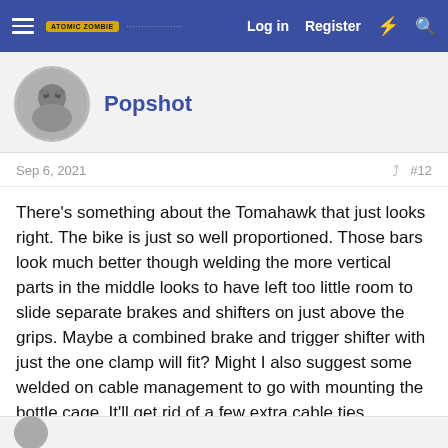Log in  Register
Popshot
Sep 6, 2021  #12
There's something about the Tomahawk that just looks right. The bike is just so well proportioned. Those bars look much better though welding the more vertical parts in the middle looks to have left too little room to slide separate brakes and shifters on just above the grips. Maybe a combined brake and trigger shifter with just the one clamp will fit? Might I also suggest some welded on cable management to go with mounting the bottle cage. It'll get rid of a few extra cable ties currently doing the job. Any ideas on colour yet?